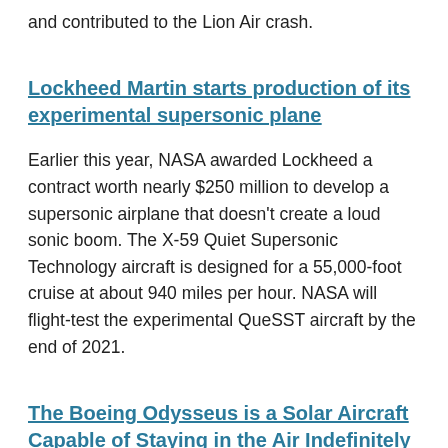and contributed to the Lion Air crash.
Lockheed Martin starts production of its experimental supersonic plane
Earlier this year, NASA awarded Lockheed a contract worth nearly $250 million to develop a supersonic airplane that doesn't create a loud sonic boom. The X-59 Quiet Supersonic Technology aircraft is designed for a 55,000-foot cruise at about 940 miles per hour. NASA will flight-test the experimental QueSST aircraft by the end of 2021.
The Boeing Odysseus is a Solar Aircraft Capable of Staying in the Air Indefinitely
The Odysseus high-altitude pseudo-satellite from Boeing unit Aurora Flight Sciences has a 243-foot wingspan. Flight testing in Puerto Rico is to begin in April 2019.